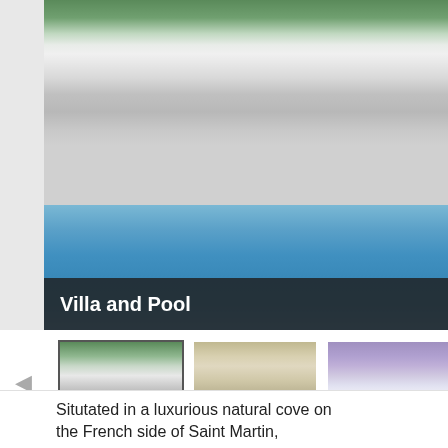[Figure (photo): Large main photo of a white villa with colonnade/arches and a large rectangular swimming pool in the foreground. Green hillside visible in the background. Image caption bar reads 'Villa and Pool'.]
Villa and Pool
[Figure (photo): Thumbnail 1 (selected/active): Villa with pool, same as main image.]
[Figure (photo): Thumbnail 2: Interior room with warm tones.]
[Figure (photo): Thumbnail 3: Bedroom with white bedding and purple/gray tones.]
[Figure (photo): Thumbnail 4 (partially visible): Another interior room.]
1 / 6
Situtated in a luxurious natural cove on the French side of Saint Martin,
REQUEST RESER